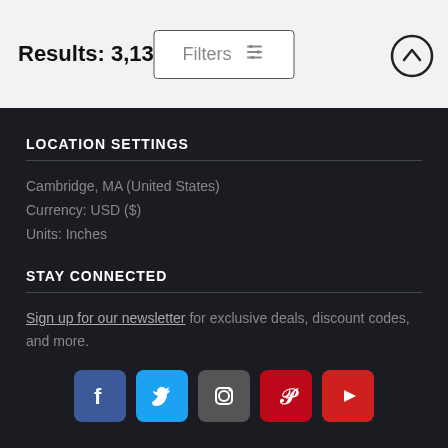Results: 3,133
Filters
LOCATION SETTINGS
Cambridge, MA (United States)
Currency: USD ($)
Units: Inches
STAY CONNECTED
Sign up for our newsletter for exclusive deals, discount codes, and more.
[Figure (infographic): Social media icons: Facebook, Twitter, Instagram, Pinterest, YouTube]
Copyright © 2022 Pixels.com - All Rights Reserved